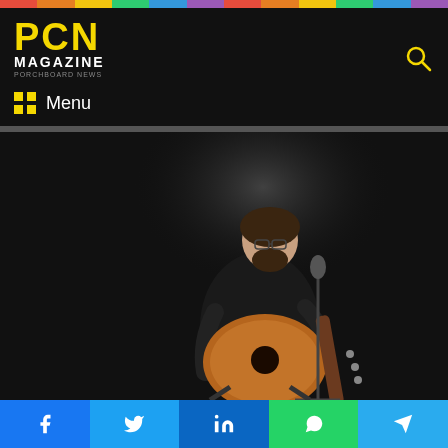PCN MAGAZINE
[Figure (photo): A man with glasses playing an acoustic/semi-hollow guitar while seated on a stool in front of a microphone, in a dark studio setting with a spotlight.]
Facebook | Twitter | LinkedIn | WhatsApp | Telegram